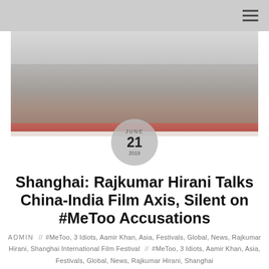[Figure (photo): Group photo of approximately 18 people standing in a row on a red carpet stage at what appears to be the Shanghai International Film Festival. They are posed in front of a light backdrop. People are dressed in casual and semi-formal attire.]
JUNE 21 2019
Shanghai: Rajkumar Hirani Talks China-India Film Axis, Silent on #MeToo Accusations
ADMIN // #MeToo, 3 Idiots, Aamir Khan, Asia, Festivals, Global, News, Rajkumar Hirani, Shanghai International Film Festival // #MeToo, 3 Idiots, Aamir Khan, Asia, Festivals, Global, News, Rajkumar Hirani, Shanghai